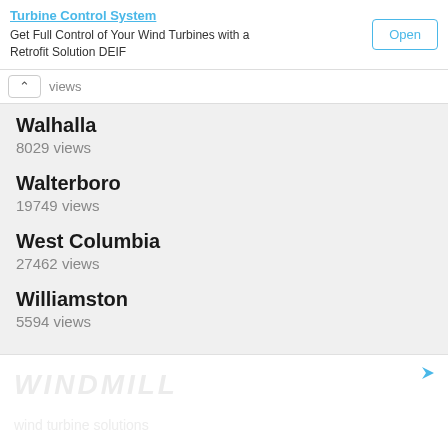Get Full Control of Your Wind Turbines with a Retrofit Solution DEIF
Walhalla
8029 views
Walterboro
19749 views
West Columbia
27462 views
Williamston
5594 views
[Figure (other): Advertisement banner at the bottom of the page]